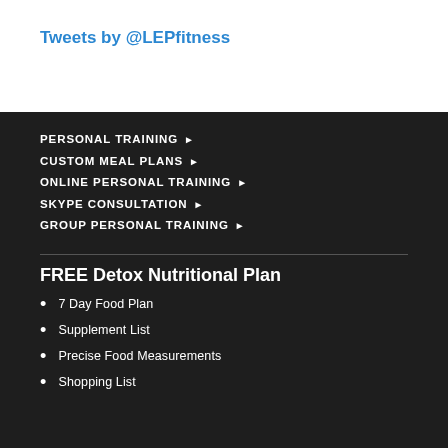Tweets by @LEPfitness
PERSONAL TRAINING ▶
CUSTOM MEAL PLANS ▶
ONLINE PERSONAL TRAINING ▶
SKYPE CONSULTATION ▶
GROUP PERSONAL TRAINING ▶
FREE Detox Nutritional Plan
7 Day Food Plan
Supplement List
Precise Food Measurements
Shopping List